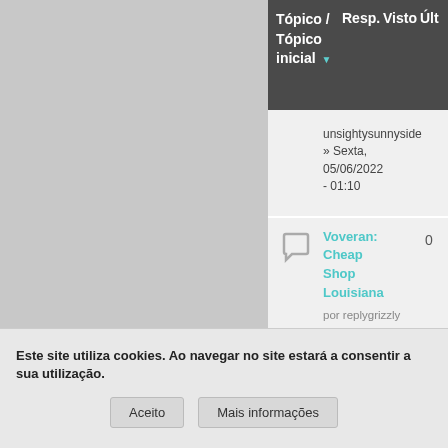|  | Tópico / Tópico inicial | Resp. | Visto | Últ |
| --- | --- | --- | --- | --- |
|  | unsightysunnyside » Sexta, 05/06/2022 - 01:10 |  |  |  |
|  | Voveran: Cheap Shop Louisiana
por replygrizzly » Quarta, 06/29/2022 - 13:34 | 0 |  |  |
|  | Alprazolam: Purchase Sacramento
por replygrizzly » Sexta, 08/26/2022 - | 0 |  |  |
Este site utiliza cookies. Ao navegar no site estará a consentir a sua utilização.
Aceito
Mais informações